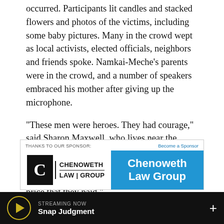occurred. Participants lit candles and stacked flowers and photos of the victims, including some baby pictures. Many in the crowd wept as local activists, elected officials, neighbors and friends spoke. Namkai-Meche’s parents were in the crowd, and a number of speakers embraced his mother after giving up the microphone.
“These men were heroes. They had courage,” said Sharon Maxwell, who lives near the TriMet station. “Thank you to their families. Thank you, thank you, thank you. There are no words tonight that we can even say for the price that they paid.”
[Figure (infographic): Sponsor advertisement box for Chenoweth Law Group with logo on left and blue panel on right]
STREAMING NOW
Snap Judgment